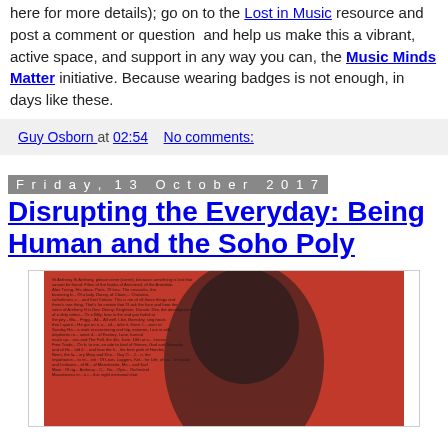here for more details); go on to the Lost in Music resource and post a comment or question and help us make this a vibrant, active space, and support in any way you can, the Music Minds Matter initiative. Because wearing badges is not enough, in days like these.
Guy Osborn at 02:54   No comments:
Friday, 13 October 2017
Disrupting the Everyday: Being Human and the Soho Poly
[Figure (photo): Red background image with a face silhouette overlaid with dense text]